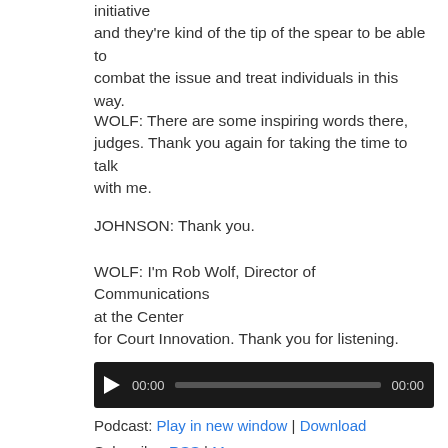initiative
and they're kind of the tip of the spear to be able to combat the issue and treat individuals in this way.
WOLF: There are some inspiring words there, judges. Thank you again for taking the time to talk with me.
JOHNSON: Thank you.
WOLF: I'm Rob Wolf, Director of Communications at the Center
for Court Innovation. Thank you for listening.
[Figure (other): Audio player with play button, time display 00:00, progress bar, and end time 00:00 on dark background]
Podcast: Play in new window | Download
Subscribe: RSS | More